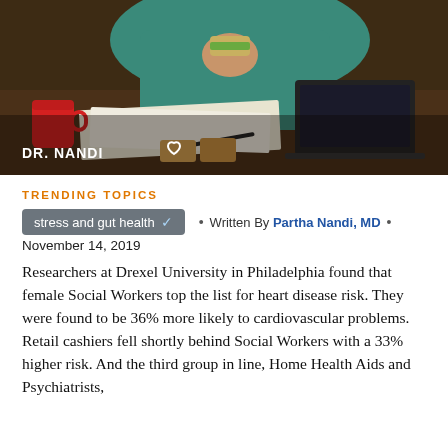[Figure (photo): Woman in teal top eating a sandwich while working at a laptop on a desk with papers, a red mug, and bread. DR. NANDI logo with heart icon in bottom left of photo.]
TRENDING TOPICS
stress and gut health • Written By Partha Nandi, MD • November 14, 2019
Researchers at Drexel University in Philadelphia found that female Social Workers top the list for heart disease risk. They were found to be 36% more likely to cardiovascular problems. Retail cashiers fell shortly behind Social Workers with a 33% higher risk. And the third group in line, Home Health Aids and Psychiatrists,